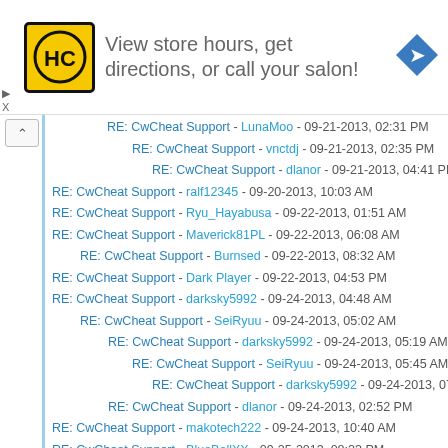[Figure (infographic): Advertisement banner: HC logo (yellow square with black HC letters) and text 'View store hours, get directions, or call your salon!' with a blue navigation arrow icon on the right.]
RE: CwCheat Support - LunaMoo - 09-21-2013, 02:31 PM
RE: CwCheat Support - vnctdj - 09-21-2013, 02:35 PM
RE: CwCheat Support - dlanor - 09-21-2013, 04:41 PM
RE: CwCheat Support - ralf12345 - 09-20-2013, 10:03 AM
RE: CwCheat Support - Ryu_Hayabusa - 09-22-2013, 01:51 AM
RE: CwCheat Support - Maverick81PL - 09-22-2013, 06:08 AM
RE: CwCheat Support - Burnsed - 09-22-2013, 08:32 AM
RE: CwCheat Support - Dark Player - 09-22-2013, 04:53 PM
RE: CwCheat Support - darksky5992 - 09-24-2013, 04:48 AM
RE: CwCheat Support - SeiRyuu - 09-24-2013, 05:02 AM
RE: CwCheat Support - darksky5992 - 09-24-2013, 05:19 AM
RE: CwCheat Support - SeiRyuu - 09-24-2013, 05:45 AM
RE: CwCheat Support - darksky5992 - 09-24-2013, 07:42 AM
RE: CwCheat Support - dlanor - 09-24-2013, 02:52 PM
RE: CwCheat Support - makotech222 - 09-24-2013, 10:40 AM
RE: CwCheat Support - BlueBellXX - 09-25-2013, 08:23 PM
RE: CwCheat Support - SeiRyuu - 09-25-2013, 08:37 PM
RE: CwCheat Support - BlueBellXX - 09-25-2013, 09:18 PM
RE: CwCheat Support - LunarGuard12 - 09-25-2013, 09:12 PM